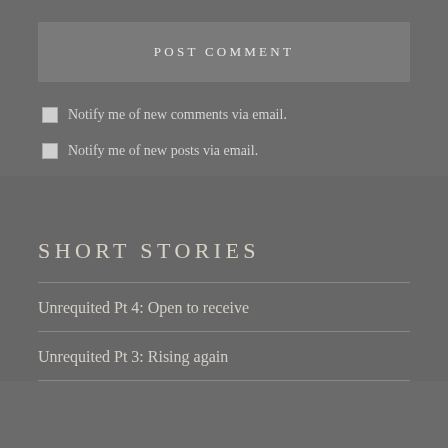POST COMMENT
Notify me of new comments via email.
Notify me of new posts via email.
SHORT STORIES
Unrequited Pt 4: Open to receive
Unrequited Pt 3: Rising again